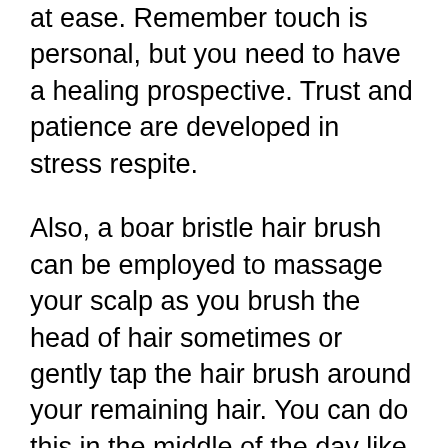at ease. Remember touch is personal, but you need to have a healing prospective. Trust and patience are developed in stress respite.
Also, a boar bristle hair brush can be employed to massage your scalp as you brush the head of hair sometimes or gently tap the hair brush around your remaining hair. You can do this in the middle of the day like for your lunch breaks for about 5 seconds.
Then however the other side to work. Some people go in a massage while they like the “caring intimate” professional touch in a good environment. it gives them the opportunity to speak their mind and share